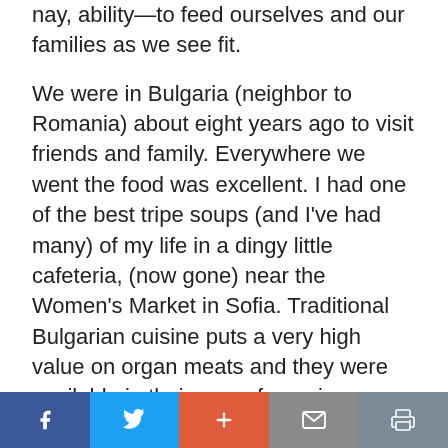nay, ability—to feed ourselves and our families as we see fit.
We were in Bulgaria (neighbor to Romania) about eight years ago to visit friends and family. Everywhere we went the food was excellent. I had one of the best tripe soups (and I've had many) of my life in a dingy little cafeteria, (now gone) near the Women's Market in Sofia. Traditional Bulgarian cuisine puts a very high value on organ meats and they were available in their many forms in every restaurant in which we ate.
[social share bar: Facebook, Twitter, Plus, Mail, Print]